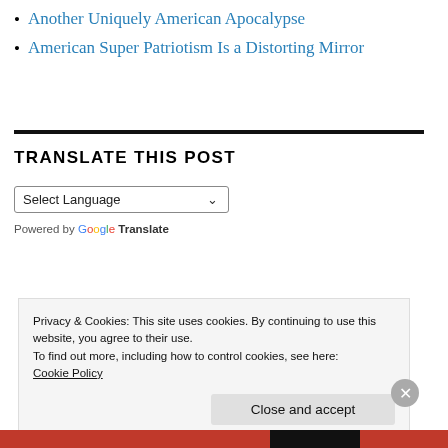Another Uniquely American Apocalypse
American Super Patriotism Is a Distorting Mirror
TRANSLATE THIS POST
Select Language
Powered by Google Translate
Privacy & Cookies: This site uses cookies. By continuing to use this website, you agree to their use.
To find out more, including how to control cookies, see here:
Cookie Policy
Close and accept